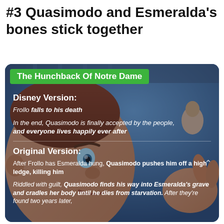#3 Quasimodo and Esmeralda's bones stick together
[Figure (screenshot): Screenshot of a social media post overlaid on an animated image from The Hunchback of Notre Dame showing Quasimodo and Esmeralda. The post compares the Disney Version and Original Version of the story. Green banner reads 'The Hunchback Of Notre Dame'. Disney Version: Frollo falls to his death. In the end, Quasimodo is finally accepted by the people, and everyone lives happily ever after. Original Version: After Frollo has Esmeralda hung, Quasimodo pushes him off a high ledge, killing him. Riddled with guilt, Quasimodo finds his way into Esmeralda's grave and cradles her body until he dies from starvation. After they're found two years later,]